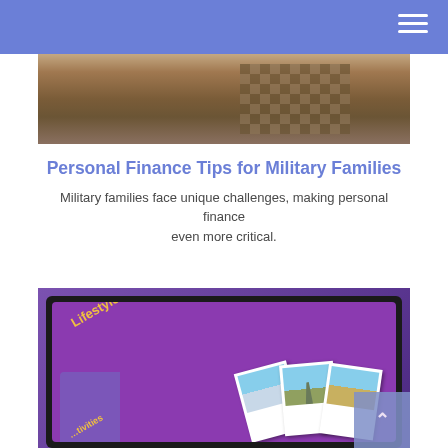[Figure (photo): Photo of a person in military camouflage uniform, top portion of the page]
Personal Finance Tips for Military Families
Military families face unique challenges, making personal finance even more critical.
[Figure (photo): Photo of a tablet displaying a purple screen with 'Lifestyle Choices: Luxury & Leisure' text and polaroid photos of travel destinations including sailboat, Eiffel Tower]